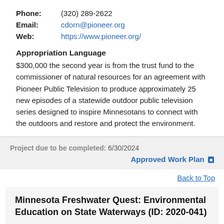Phone: (320) 289-2622
Email: cdorn@pioneer.org
Web: https://www.pioneer.org/
Appropriation Language
$300,000 the second year is from the trust fund to the commissioner of natural resources for an agreement with Pioneer Public Television to produce approximately 25 new episodes of a statewide outdoor public television series designed to inspire Minnesotans to connect with the outdoors and restore and protect the environment.
Project due to be completed: 6/30/2024
Approved Work Plan
Back to Top
Minnesota Freshwater Quest: Environmental Education on State Waterways (ID: 2020-041)